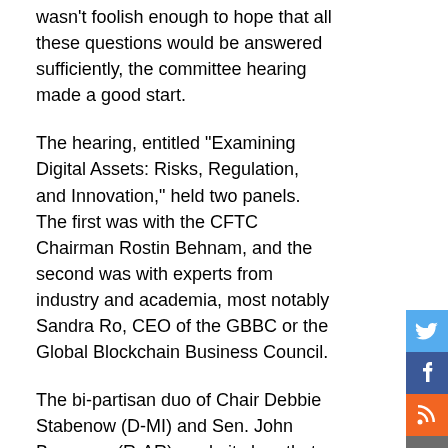wasn't foolish enough to hope that all these questions would be answered sufficiently, the committee hearing made a good start.
The hearing, entitled "Examining Digital Assets: Risks, Regulation, and Innovation," held two panels. The first was with the CFTC Chairman Rostin Behnam, and the second was with experts from industry and academia, most notably Sandra Ro, CEO of the GBBC or the Global Blockchain Business Council.
The bi-partisan duo of Chair Debbie Stabenow (D-MI) and Sen. John Boozman (R-AR) made it clear that they were open to expanding the mandate empowering the CFTC. And that expansion could include regulating crypto. And they both admitted there was no time to waste.
According to Stabenow:
We can't afford to wait until the next crisis; Congress must
[Figure (infographic): Social media share buttons sidebar: Twitter (blue bird), Facebook (blue f), RSS (orange), plus/share (gray), email (gray)]